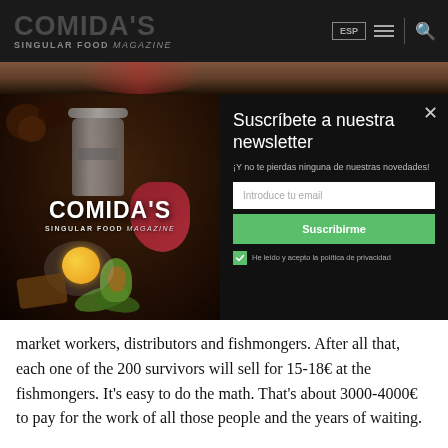COMIDA'S SINGULAR FOOD magazine
[Figure (screenshot): Website screenshot with newsletter popup overlay. Left side shows food photo with COMIDA'S magazine logo. Right side shows newsletter signup form with title 'Suscríbete a nuestra newsletter', email input, subscribe button, and privacy checkbox.]
market workers, distributors and fishmongers. After all that, each one of the 200 survivors will sell for 15-18€ at the fishmongers. It's easy to do the math. That's about 3000-4000€ to pay for the work of all those people and the years of waiting.